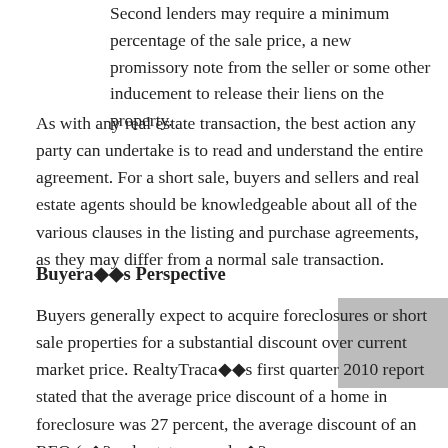Second lenders may require a minimum percentage of the sale price, a new promissory note from the seller or some other inducement to release their liens on the property.
As with any real estate transaction, the best action any party can undertake is to read and understand the entire agreement. For a short sale, buyers and sellers and real estate agents should be knowledgeable about all of the various clauses in the listing and purchase agreements, as they may differ from a normal sale transaction.
Buyeraï¿½s Perspective
Buyers generally expect to acquire foreclosures or short sale properties for a substantial discount over current market price. RealtyTracaï¿½s first quarter 2010 report stated that the average price discount of a home in foreclosure was 27 percent, the average discount of an REO (aï¿½?real estate owned,aï¿½? a